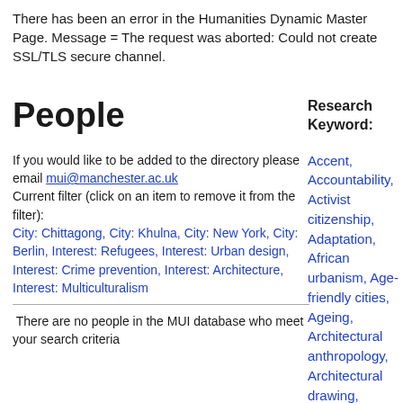There has been an error in the Humanities Dynamic Master Page. Message = The request was aborted: Could not create SSL/TLS secure channel.
People
Research Keyword:
If you would like to be added to the directory please email mui@manchester.ac.uk
Current filter (click on an item to remove it from the filter):
City: Chittagong, City: Khulna, City: New York, City: Berlin, Interest: Refugees, Interest: Urban design, Interest: Crime prevention, Interest: Architecture, Interest: Multiculturalism
There are no people in the MUI database who meet your search criteria
Accent, Accountability, Activist citizenship, Adaptation, African urbanism, Age-friendly cities, Ageing, Architectural anthropology, Architectural drawing, Architectural ethnography, Architecture, Art, Aspiration, Atmosphere, Austerity,